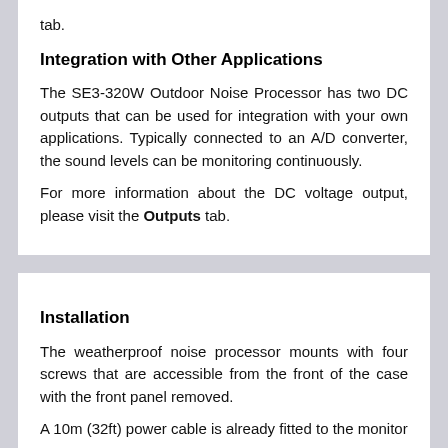tab.
Integration with Other Applications
The SE3-320W Outdoor Noise Processor has two DC outputs that can be used for integration with your own applications. Typically connected to an A/D converter, the sound levels can be monitoring continuously.
For more information about the DC voltage output, please visit the Outputs tab.
Installation
The weatherproof noise processor mounts with four screws that are accessible from the front of the case with the front panel removed.
A 10m (32ft) power cable is already fitted to the monitor